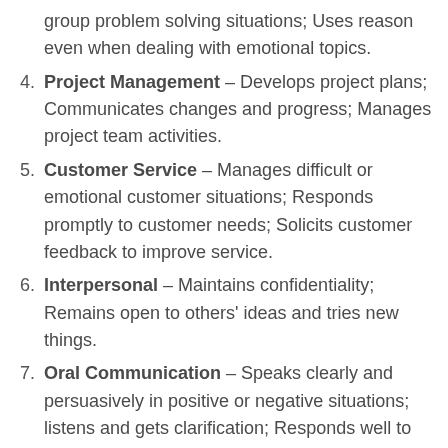group problem solving situations; Uses reason even when dealing with emotional topics.
4. Project Management – Develops project plans; Communicates changes and progress; Manages project team activities.
5. Customer Service – Manages difficult or emotional customer situations; Responds promptly to customer needs; Solicits customer feedback to improve service.
6. Interpersonal – Maintains confidentiality; Remains open to others' ideas and tries new things.
7. Oral Communication – Speaks clearly and persuasively in positive or negative situations; listens and gets clarification; Responds well to questions; Demonstrates group presentation skills; Participates